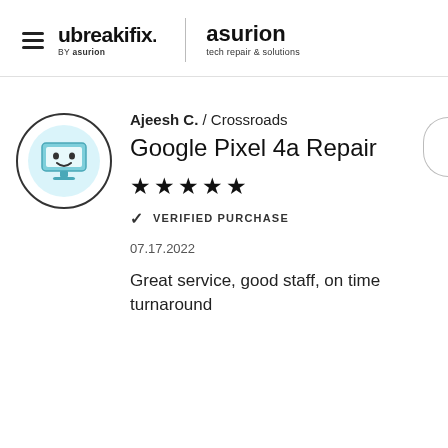ubreakifix. BY asurion | asurion tech repair & solutions
[Figure (illustration): Circular avatar icon with a cute cartoon computer monitor with a smiley face, light blue background inside the circle, black border outline]
Ajeesh C. / Crossroads
Google Pixel 4a Repair
★★★★★
✓ VERIFIED PURCHASE
07.17.2022
Great service, good staff, on time turnaround